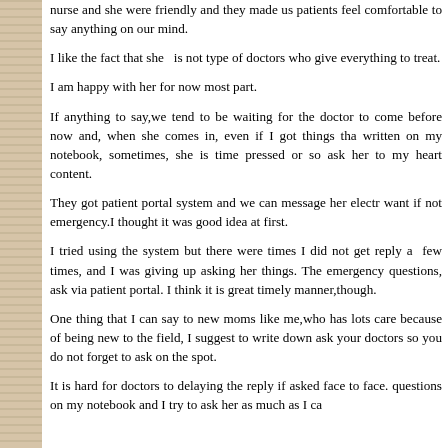nurse and she were friendly and they made us patients feel comfortable to say anything on our mind.
I like the fact that she is not type of doctors who give everything to treat.
I am happy with her for now most part.
If anything to say,we tend to be waiting for the doctor to come before now and, when she comes in, even if I got things that written on my notebook, sometimes, she is time pressed or so ask her to my heart content.
They got patient portal system and we can message her electronically whenever we want if not emergency.I thought it was good idea at first.
I tried using the system but there were times I did not get reply a few times, and I was giving up asking her things. The emergency questions, ask via patient portal. I think it is great timely manner,though.
One thing that I can say to new moms like me,who has lots of care because of being new to the field, I suggest to write down ask your doctors so you do not forget to ask on the spot.
It is hard for doctors to delaying the reply if asked face to face. questions on my notebook and I try to ask her as much as I can of subjects in patients and things.